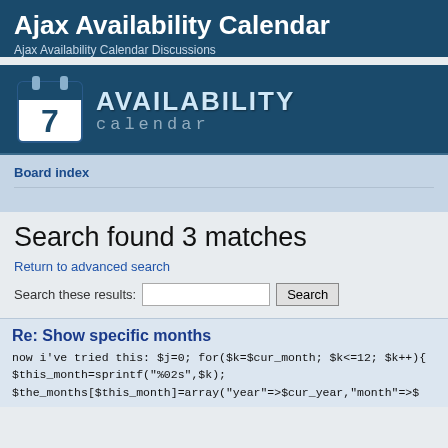Ajax Availability Calendar
Ajax Availability Calendar Discussions
[Figure (logo): Availability Calendar logo with calendar icon showing '7' and stylized 'AVAILABILITY calendar' text]
Board index
Search found 3 matches
Return to advanced search
Search these results: [input] Search
Re: Show specific months
now i've tried this: $j=0; for($k=$cur_month; $k<=12; $k++){ $this_month=sprintf("%02s",$k); $the_months[$this_month]=array("year"=>$cur_year,"month"=>$